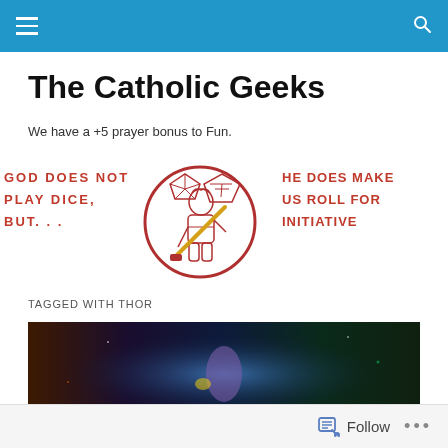The Catholic Geeks — navigation bar
The Catholic Geeks
We have a +5 prayer bonus to Fun.
[Figure (illustration): Banner graphic with red circle logo of a Catholic geek character holding a lightsaber, flanked by text: left side reads 'GOD DOES NOT PLAY DICE, BUT...' and right side reads 'HE DOES MAKE US ROLL FOR INITIATIVE']
TAGGED WITH THOR
[Figure (photo): Avengers Infinity War promotional image showing multiple Marvel superhero characters including Thanos with the Infinity Gauntlet]
Follow  •••